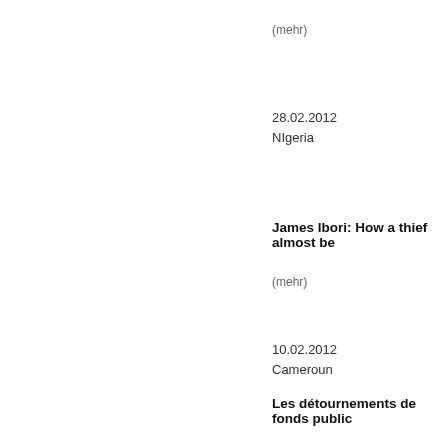(mehr)
28.02.2012
NIgeria
James Ibori: How a thief almost be
(mehr)
10.02.2012
Cameroun
Les détournements de fonds public
(mehr)
23.01.2012
Tchad
12 MILLIARDS DE FRANCS CFA
(mehr)
29.12.2011